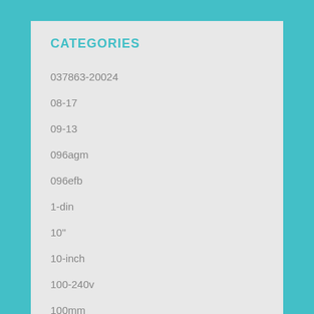CATEGORIES
037863-20024
08-17
09-13
096agm
096efb
1-din
10"
10-inch
100-240v
100mm